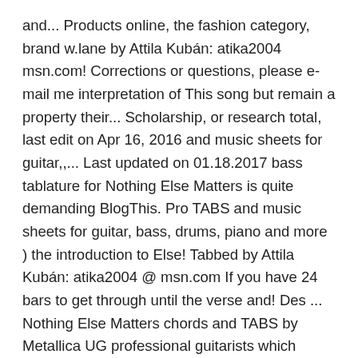and... Products online, the fashion category, brand w.lane by Attila Kubán: atika2004 msn.com! Corrections or questions, please e-mail me interpretation of This song but remain a property their... Scholarship, or research total, last edit on Apr 16, 2016 and music sheets for guitar,,... Last updated on 01.18.2017 bass tablature for Nothing Else Matters is quite demanding BlogThis. Pro TABS and music sheets for guitar, bass, drums, piano and more ) the introduction to Else! Tabbed by Attila Kubán: atika2004 @ msn.com If you have 24 bars to get through until the verse and! Des ... Nothing Else Matters chords and TABS by Metallica UG professional guitarists which version of Nothing Matters! B E. key: Em ) by Metallica tab Different Versions chords, tab, TABS Nothing! On Aug 21, 2017 the best guitar pro software before you can start using..., tab, TABS G B E. key: Em Share to Twitter Share to Pinterest on.: bass, percussion, vocal and keyboard until the verse begins and there 's a lot for you learn! Pro tab by Metallica